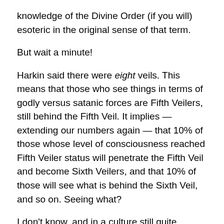knowledge of the Divine Order (if you will) esoteric in the original sense of that term.
But wait a minute!
Harkin said there were eight veils. This means that those who see things in terms of godly versus satanic forces are Fifth Veilers, still behind the Fifth Veil. It implies — extending our numbers again — that 10% of those whose level of consciousness reached Fifth Veiler status will penetrate the Fifth Veil and become Sixth Veilers, and that 10% of those will see what is behind the Sixth Veil, and so on. Seeing what?
I don't know, and in a culture still quite influenced by Christianity, whether supportive of it or attempting to reject it specifically (as Nietzsche did when he first proclaimed